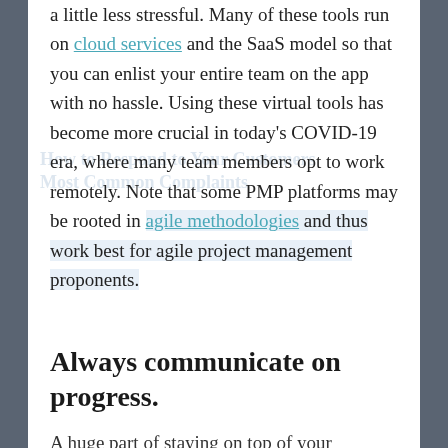a little less stressful. Many of these tools run on cloud services and the SaaS model so that you can enlist your entire team on the app with no hassle. Using these virtual tools has become more crucial in today's COVID-19 era, where many team members opt to work remotely. Note that some PMP platforms may be rooted in agile methodologies and thus work best for agile project management proponents.
Always communicate on progress.
A huge part of staying on top of your company's projects depends on progress communication. It pays to report every recent development and regularly evaluate the performance of your